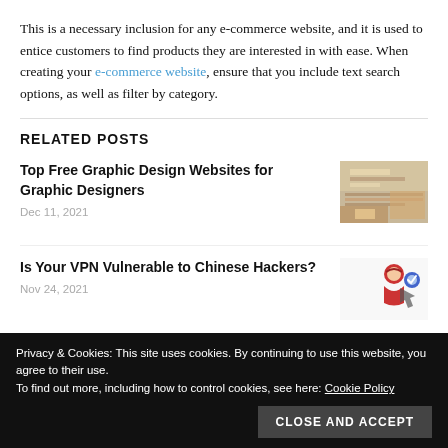This is a necessary inclusion for any e-commerce website, and it is used to entice customers to find products they are interested in with ease. When creating your e-commerce website, ensure that you include text search options, as well as filter by category.
RELATED POSTS
Top Free Graphic Design Websites for Graphic Designers
Dec 11, 2021
[Figure (photo): Thumbnail image of graphic design materials]
Is Your VPN Vulnerable to Chinese Hackers?
Nov 24, 2021
[Figure (illustration): Illustration of a hacker figure in red hoodie]
Privacy & Cookies: This site uses cookies. By continuing to use this website, you agree to their use.
To find out more, including how to control cookies, see here: Cookie Policy
CLOSE AND ACCEPT